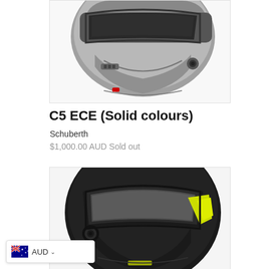[Figure (photo): Gray Schuberth C5 ECE modular motorcycle helmet, lower half view showing visor mechanism, chin guard and speaker port, on white background]
C5 ECE (Solid colours)
Schuberth
$1,000.00 AUD Sold out
[Figure (photo): Black Schuberth motorcycle helmet with yellow accent stripe, showing visor and speaker, on white background]
AUD